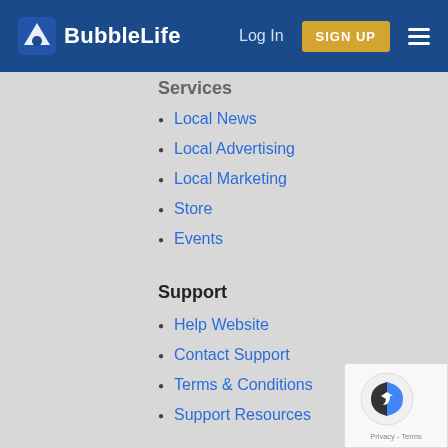BubbleLife — Log In | SIGN UP
Services
Local News
Local Advertising
Local Marketing
Store
Events
Support
Help Website
Contact Support
Terms & Conditions
Support Resources
Resources
Marketing Workbook
Neighborhood Brands
Writing Guide
Media Kit